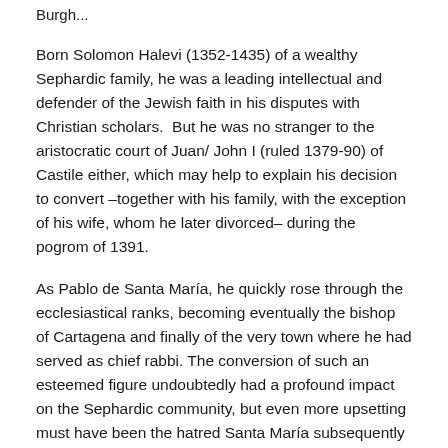Burgh...
Born Solomon Halevi (1352-1435) of a wealthy Sephardic family, he was a leading intellectual and defender of the Jewish faith in his disputes with Christian scholars.  But he was no stranger to the aristocratic court of Juan/ John I (ruled 1379-90) of Castile either, which may help to explain his decision to convert –together with his family, with the exception of his wife, whom he later divorced– during the pogrom of 1391.
As Pablo de Santa María, he quickly rose through the ecclesiastical ranks, becoming eventually the bishop of Cartagena and finally of the very town where he had served as chief rabbi. The conversion of such an esteemed figure undoubtedly had a profound impact on the Sephardic community, but even more upsetting must have been the hatred Santa María subsequently displayed to those who remained loyal to their faith.